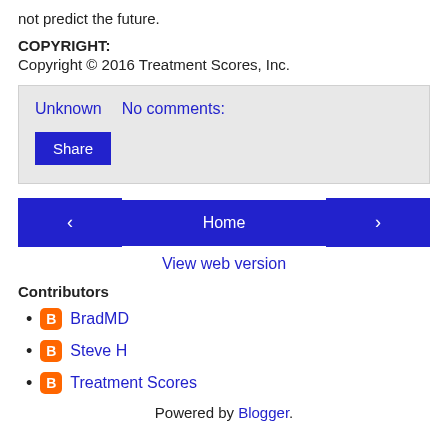not predict the future.
COPYRIGHT:
Copyright © 2016 Treatment Scores, Inc.
Unknown   No comments:
Share
< Home >
View web version
Contributors
BradMD
Steve H
Treatment Scores
Powered by Blogger.